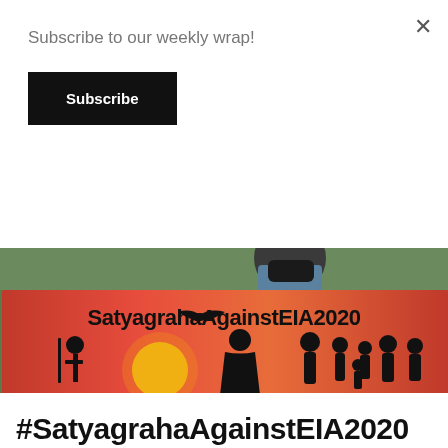Subscribe to our weekly wrap!
Subscribe
[Figure (photo): A person wearing a black face mask holds up a painted cardboard sign that reads 'Satyagraha Against EIA2020' with silhouettes of people and a bird against an orange and yellow sunset background.]
#SatyagrahaAgainstEIA2020